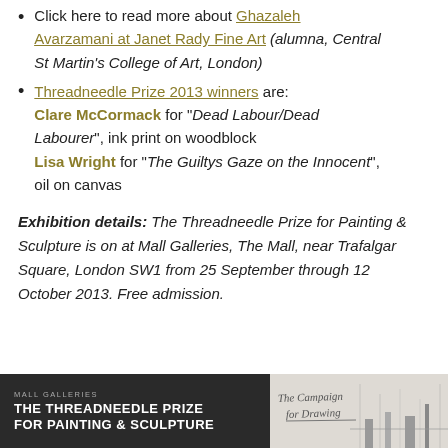Click here to read more about Ghazaleh Avarzamani at Janet Rady Fine Art (alumna, Central St Martin's College of Art, London)
Threadneedle Prize 2013 winners are: Clare McCormack for "Dead Labour/Dead Labourer", ink print on woodblock Lisa Wright for "The Guiltys Gaze on the Innocent", oil on canvas
Exhibition details: The Threadneedle Prize for Painting & Sculpture is on at Mall Galleries, The Mall, near Trafalgar Square, London SW1 from 25 September through 12 October 2013. Free admission.
[Figure (photo): Two images side by side: left shows a dark promotional banner for 'Mall Galleries – The Threadneedle Prize for Painting & Sculpture'; right shows a light-coloured image with handwritten text 'The Campaign for Drawing' and a cityscape/industrial sketch in the background.]